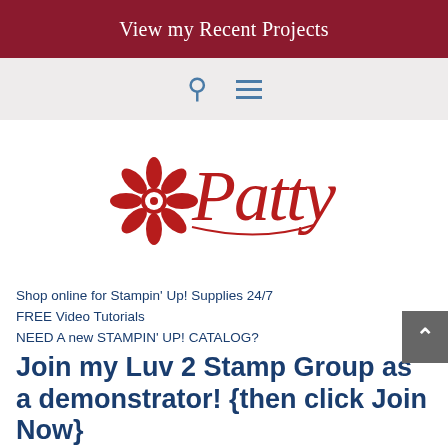View my Recent Projects
[Figure (logo): Red flower and cursive 'Patty' script logo in red]
Shop online for Stampin' Up! Supplies 24/7
FREE Video Tutorials
NEED A new STAMPIN' UP! CATALOG?
Join my Luv 2 Stamp Group as a demonstrator! {then click Join Now}
Tutorials & Kits available from Patty